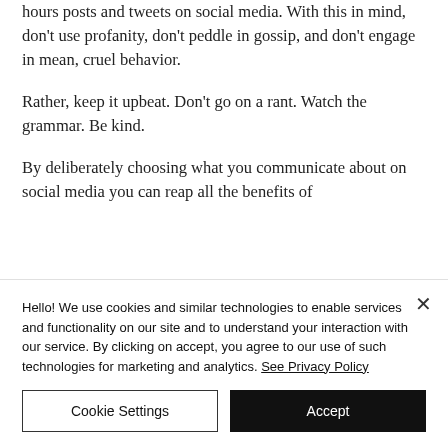hours posts and tweets on social media. With this in mind, don't use profanity, don't peddle in gossip, and don't engage in mean, cruel behavior.
Rather, keep it upbeat. Don't go on a rant. Watch the grammar. Be kind.
By deliberately choosing what you communicate about on social media you can reap all the benefits of
Hello! We use cookies and similar technologies to enable services and functionality on our site and to understand your interaction with our service. By clicking on accept, you agree to our use of such technologies for marketing and analytics. See Privacy Policy
Cookie Settings
Accept